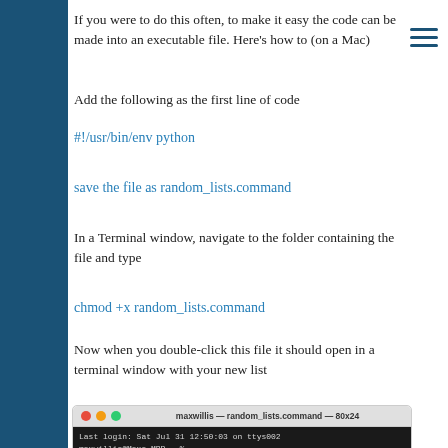If you were to do this often, to make it easy the code can be made into an executable file. Here’s how to (on a Mac)
Add the following as the first line of code
#!/usr/bin/env python
save the file as random_lists.command
In a Terminal window, navigate to the folder containing the file and type
chmod +x random_lists.command
Now when you double-click this file it should open in a terminal window with your new list
[Figure (screenshot): Terminal window screenshot showing: maxwillis — random_lists.command — 80x24, with login message and command line showing /Users/maxwillis/Desktop/random_lists.command ; exit;]